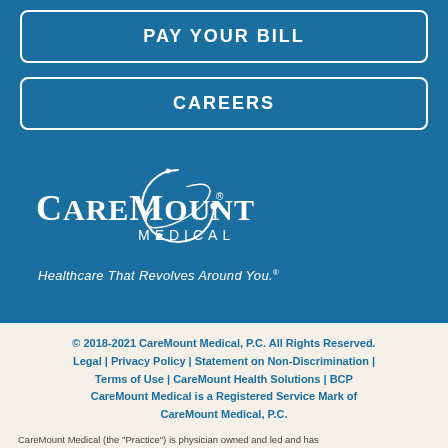PAY YOUR BILL
CAREERS
[Figure (logo): CareMount Medical logo with circular orbital graphic and tagline 'Healthcare That Revolves Around You.']
© 2018-2021 CareMount Medical, P.C. All Rights Reserved. Legal | Privacy Policy | Statement on Non-Discrimination | Terms of Use | CareMount Health Solutions | BCP CareMount Medical is a Registered Service Mark of CareMount Medical, P.C.
CareMount Medical (the "Practice") is physician owned and led and has